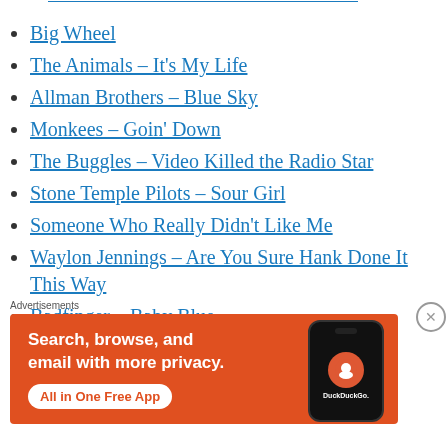(partial link at top — truncated)
Big Wheel
The Animals – It's My Life
Allman Brothers – Blue Sky
Monkees – Goin' Down
The Buggles – Video Killed the Radio Star
Stone Temple Pilots – Sour Girl
Someone Who Really Didn't Like Me
Waylon Jennings – Are You Sure Hank Done It This Way
Badfinger – Baby Blue
A Quick visit to Captain Kangaroo
Advertisements
[Figure (infographic): DuckDuckGo advertisement banner with orange background. Text reads: 'Search, browse, and email with more privacy. All in One Free App'. Shows a phone mockup with DuckDuckGo logo and 'DuckDuckGo.' text.]